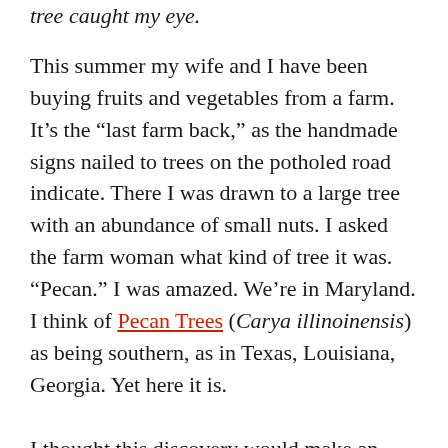tree caught my eye.
This summer my wife and I have been buying fruits and vegetables from a farm. It’s the “last farm back,” as the handmade signs nailed to trees on the potholed road indicate. There I was drawn to a large tree with an abundance of small nuts. I asked the farm woman what kind of tree it was. “Pecan.” I was amazed. We’re in Maryland. I think of Pecan Trees (Carya illinoinensis) as being southern, as in Texas, Louisiana, Georgia. Yet here it is.
I thought this discovery would make an interesting post—a followup to the Horse Chestnut story. I looked for images of Pecan Trees on stamps, assuming an easy search since trees are a